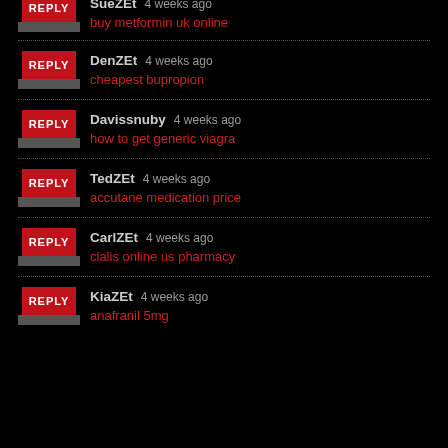SueZEt 4 weeks ago — buy metformin uk online
DenZEt 4 weeks ago — cheapest bupropion
Davissnuby 4 weeks ago — how to get generic viagra
TedZEt 4 weeks ago — accutane medication price
CarlZEt 4 weeks ago — cialis online us pharmacy
KiaZEt 4 weeks ago — anafranil 5mg